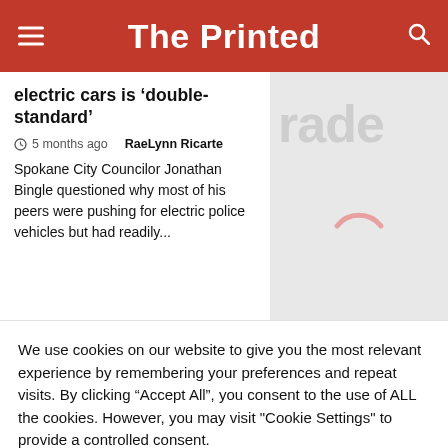The Printed
electric cars is ‘double-standard’
5 months ago  RaeLynn Ricarte
Spokane City Councilor Jonathan Bingle questioned why most of his peers were pushing for electric police vehicles but had readily...
We use cookies on our website to give you the most relevant experience by remembering your preferences and repeat visits. By clicking “Accept All”, you consent to the use of ALL the cookies. However, you may visit "Cookie Settings" to provide a controlled consent.